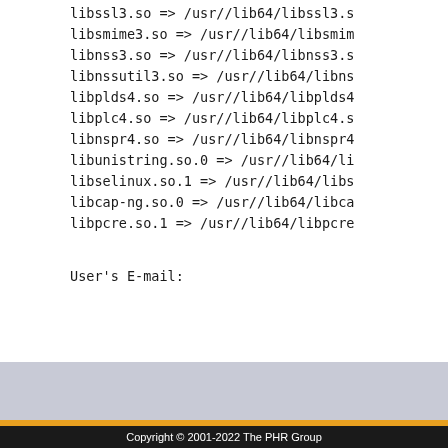libssl3.so => /usr//lib64/libssl3.s
libsmime3.so => /usr//lib64/libsmim
libnss3.so => /usr//lib64/libnss3.s
libnssutil3.so => /usr//lib64/libns
libplds4.so => /usr//lib64/libplds4
libplc4.so => /usr//lib64/libplc4.s
libnspr4.so => /usr//lib64/libnspr4
libunistring.so.0 => /usr//lib64/li
libselinux.so.1 => /usr//lib64/libs
libcap-ng.so.0 => /usr//lib64/libca
libpcre.so.1 => /usr//lib64/libpcre
User's E-mail:
Copyright © 2001-2022 The PHR Group